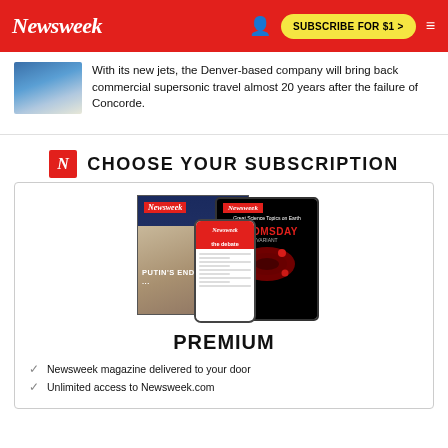Newsweek | SUBSCRIBE FOR $1 >
With its new jets, the Denver-based company will bring back commercial supersonic travel almost 20 years after the failure of Concorde.
CHOOSE YOUR SUBSCRIPTION
[Figure (photo): Newsweek magazine covers and digital devices showing various Newsweek issues including Putin's Endgame cover and Doomsday Variant cover on a tablet]
PREMIUM
Newsweek magazine delivered to your door
Unlimited access to Newsweek.com